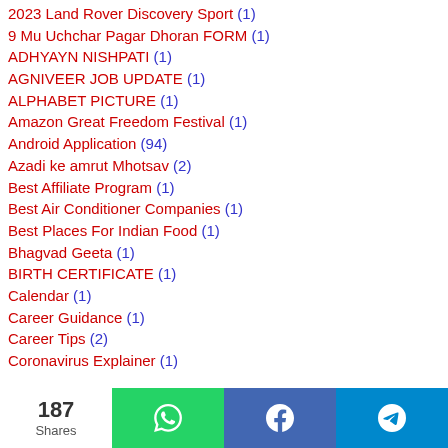2023 Land Rover Discovery Sport (1)
9 Mu Uchchar Pagar Dhoran FORM (1)
ADHYAYN NISHPATI (1)
AGNIVEER JOB UPDATE (1)
ALPHABET PICTURE (1)
Amazon Great Freedom Festival (1)
Android Application (94)
Azadi ke amrut Mhotsav (2)
Best Affiliate Program (1)
Best Air Conditioner Companies (1)
Best Places For Indian Food (1)
Bhagvad Geeta (1)
BIRTH CERTIFICATE (1)
Calendar (1)
Career Guidance (1)
Career Tips (2)
Coronavirus Explainer (1)
187 Shares